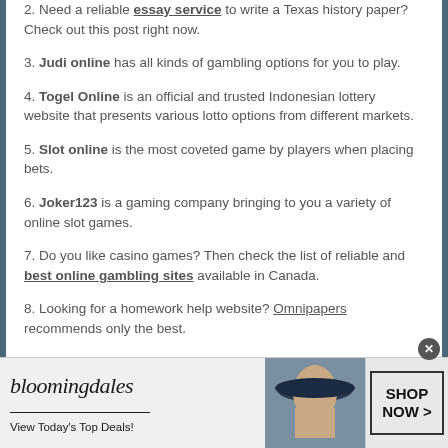2. Need a reliable essay service to write a Texas history paper? Check out this post right now.
3. Judi online has all kinds of gambling options for you to play.
4. Togel Online is an official and trusted Indonesian lottery website that presents various lotto options from different markets.
5. Slot online is the most coveted game by players when placing bets.
6. Joker123 is a gaming company bringing to you a variety of online slot games.
7. Do you like casino games? Then check the list of reliable and best online gambling sites available in Canada.
8. Looking for a homework help website? Omnipapers recommends only the best.
[Figure (infographic): Bloomingdales advertisement banner: logo with italic serif font, tagline 'View Today's Top Deals!', woman in hat photo, and 'SHOP NOW >' button]